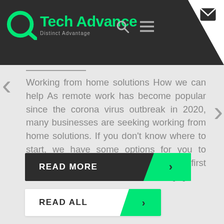[Figure (logo): Tech Advance logo with green circular icon and text 'Tech Advance / Distinct Advantage' on dark header background]
Working from home solutions How we can help As remote work has become popular since the corona virus outbreak in 2020, many businesses are seeking working from home solutions. If you don't know where to start, we have some options for you to consider. Cloud Phones and VoIP Our first recommendation would be to make [...]
READ MORE
READ ALL